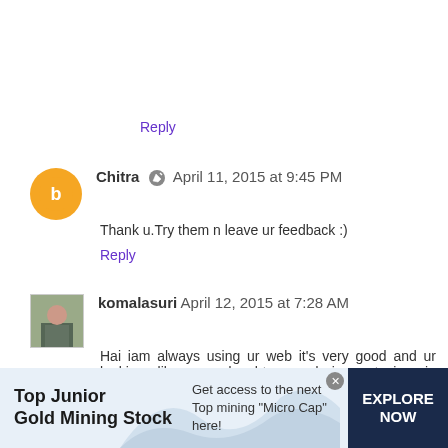Reply
Chitra  April 11, 2015 at 9:45 PM
Thank u.Try them n leave ur feedback :)
Reply
komalasuri  April 12, 2015 at 7:28 AM
Hai iam always using ur web it's very good and ur looking like my daughter, and iam staying in kumbakonam, and
[Figure (infographic): Advertisement banner for Top Junior Gold Mining Stock with explore now button]